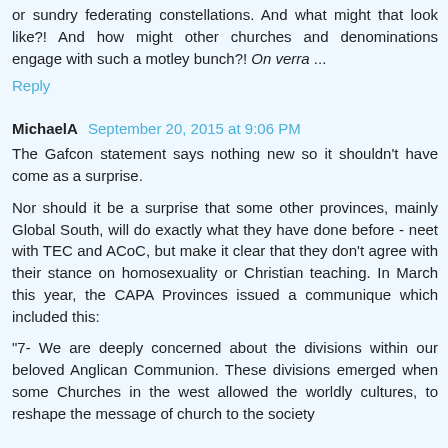or sundry federating constellations. And what might that look like?! And how might other churches and denominations engage with such a motley bunch?! On verra ...
Reply
MichaelA  September 20, 2015 at 9:06 PM
The Gafcon statement says nothing new so it shouldn't have come as a surprise.
Nor should it be a surprise that some other provinces, mainly Global South, will do exactly what they have done before - neet with TEC and ACoC, but make it clear that they don't agree with their stance on homosexuality or Christian teaching. In March this year, the CAPA Provinces issued a communique which included this:
"7- We are deeply concerned about the divisions within our beloved Anglican Communion. These divisions emerged when some Churches in the west allowed the worldly cultures, to reshape the message of church to the society